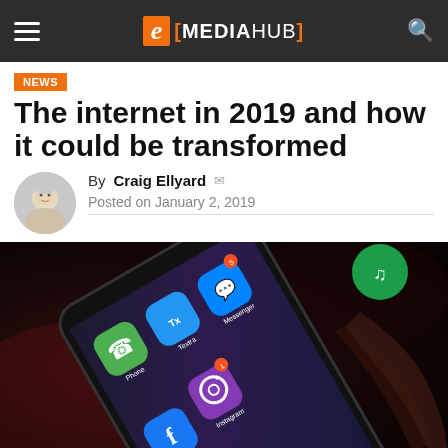e[MEDIAHUB]
NEWS
The internet in 2019 and how it could be transformed
By Craig Ellyard
Posted on January 2, 2019
[Figure (photo): Close-up photo of a smartphone screen showing social media app icons including Phone, Textra, Messenger, Instagram, Facebook, WhatsApp, YouTube, with a finger touching the screen]